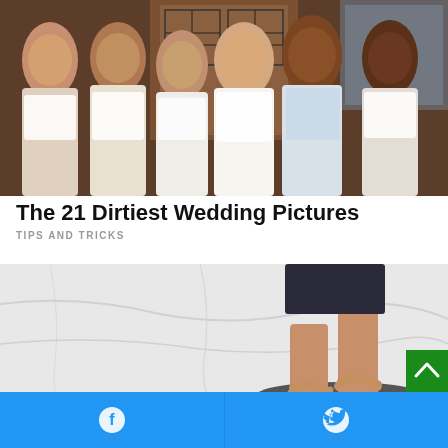[Figure (photo): Group of six women in white lingerie posing together indoors, in front of wooden doors with decorative ironwork. Some holding glasses.]
The 21 Dirtiest Wedding Pictures
TIPS AND TRICKS
[Figure (photo): Person standing barefoot on a bathroom scale, viewed from above showing feet and lower legs on white marble floor.]
Facebook share | Twitter share